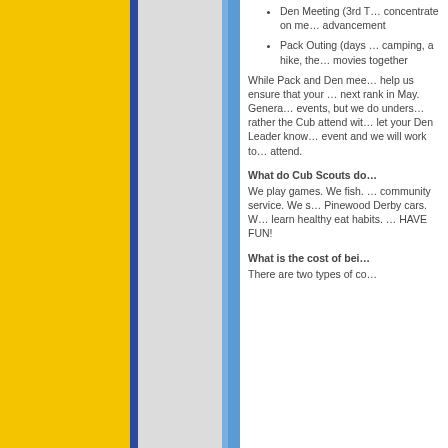Den Meeting (3rd T… concentrate on me… advancement
Pack Outing (days … camping, a hike, th… movies together
While Pack and Den mee… help us ensure that your … next rank in May. Genera… events, but we do unders… rather the Cub attend wit… let your Den Leader kno… event and we will work to… attend.
What do Cub Scouts do…
We play games. We fish. … community service. We s… Pinewood Derby cars. W… learn healthy eat habits. … HAVE FUN!
What is the cost of bei…
There are two types of co…